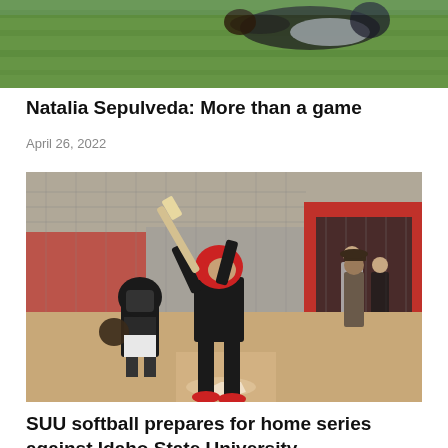[Figure (photo): Top portion of a sports photo showing a player diving or sliding on green grass field]
Natalia Sepulveda: More than a game
April 26, 2022
[Figure (photo): Softball game photo showing a batter in red helmet and black uniform at home plate, catcher in black gear crouching, dugout with players and coach visible in background, red and white fence and dugout structure]
SUU softball prepares for home series against Idaho State University